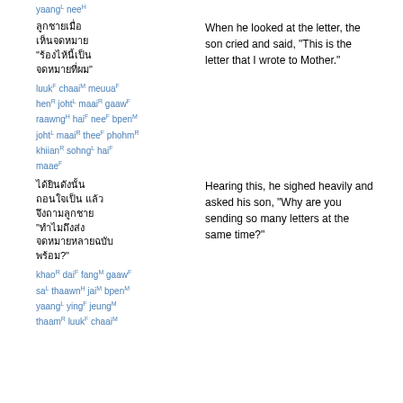yaang nee
Thai script block 1
When he looked at the letter, the son cried and said, "This is the letter that I wrote to Mother."
luuk chaai meuua hen joht maai gaaw raawng hai nee bpen joht maai thee phohm khiian sohng hai maae
Thai script block 2
Hearing this, he sighed heavily and asked his son, "Why are you sending so many letters at the same time?"
khao dai fang gaaw sa thaawn jai bpen yaang ying jeung thaam luuk chaai